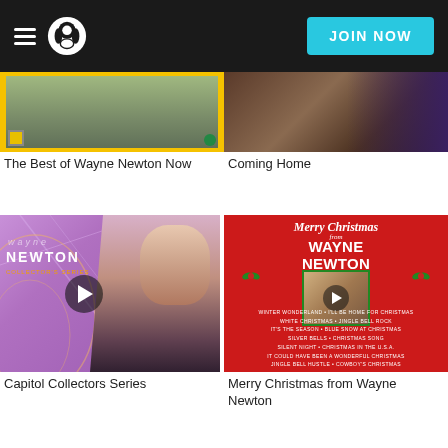Napster — JOIN NOW
[Figure (screenshot): Album art for 'The Best of Wayne Newton Now' — yellow border with video screenshot]
The Best of Wayne Newton Now
[Figure (screenshot): Album art for 'Coming Home' — dark brown/purple background]
Coming Home
[Figure (photo): Capitol Collectors Series album cover — purple background with young Wayne Newton in tuxedo]
Capitol Collectors Series
[Figure (photo): Merry Christmas from Wayne Newton album cover — red background with track listing]
Merry Christmas from Wayne Newton